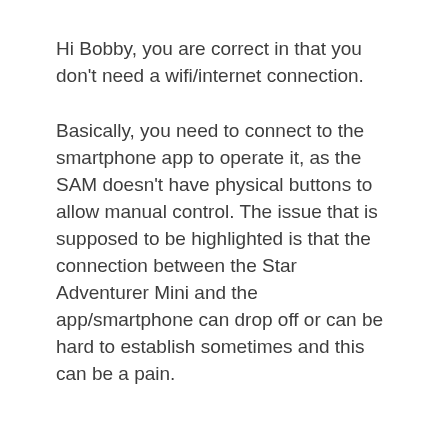Hi Bobby, you are correct in that you don't need a wifi/internet connection.
Basically, you need to connect to the smartphone app to operate it, as the SAM doesn't have physical buttons to allow manual control. The issue that is supposed to be highlighted is that the connection between the Star Adventurer Mini and the app/smartphone can drop off or can be hard to establish sometimes and this can be a pain.